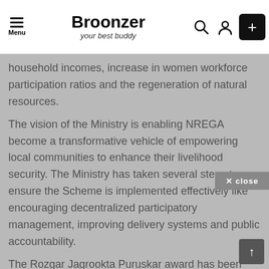Broonzer — your best buddy
household incomes, increase in women workforce participation ratios and the regeneration of natural resources.
The vision of the Ministry is enabling NREGA become a transformative vehicle of empowering local communities to enhance their livelihood security. The Ministry has taken several steps to ensure the Scheme is implemented effectively like encouraging decentralized participatory management, improving delivery systems and public accountability.
The Rozgar Jagrookta Puruskar award has been introduced to recognize outstanding Contributions by Civil society Organizations at State, District, Block and Gram Panchayat levels to generate awareness about provisions and entitlements and